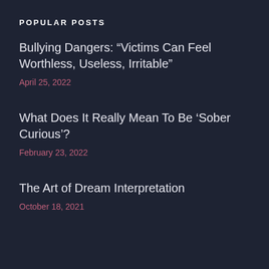POPULAR POSTS
Bullying Dangers: “Victims Can Feel Worthless, Useless, Irritable"
April 25, 2022
What Does It Really Mean To Be ‘Sober Curious’?
February 23, 2022
The Art of Dream Interpretation
October 18, 2021